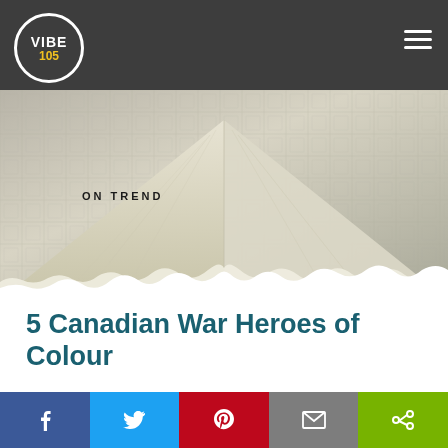VIBE 105 — navigation header with logo and hamburger menu
[Figure (photo): Hero image showing a beige/cream tent or awning peak from below against a tiled/latticed background, with 'ON TREND' label overlay]
ON TREND
5 Canadian War Heroes of Colour
11/8/2018
[Figure (infographic): Social share buttons row: Facebook Share, Twitter, Pinterest, Email, More]
Social share bar: Facebook, Twitter, Pinterest, Email, Share